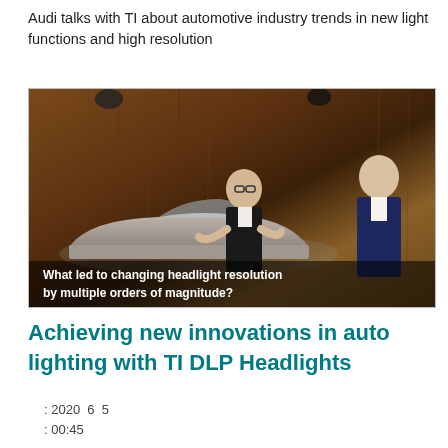Audi talks with TI about automotive industry trends in new light functions and high resolution
[Figure (screenshot): Video thumbnail showing two people in conversation at an automotive event, with a silver Audi car in the background and a wooden paneled wall. Subtitle text reads: 'What led to changing headlight resolution by multiple orders of magnitude?']
Achieving new innovations in auto lighting with TI DLP Headlights
: 2020  6  5
: 00:45